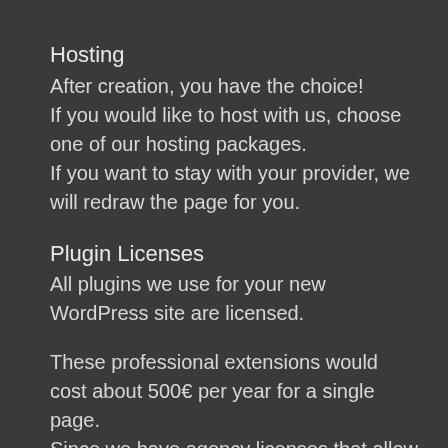Hosting
After creation, you have the choice!
If you would like to host with us, choose one of our hosting packages.
If you want to stay with your provider, we will redraw the page for you.
Plugin Licenses
All plugins we use for your new WordPress site are licensed.
These professional extensions would cost about 500€ per year for a single page.
Since we have agency licenses that allow us to license our customer pages, we can cover